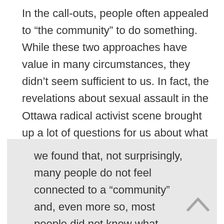In the call-outs, people often appealed to “the community” to do something. While these two approaches have value in many circumstances, they didn’t seem sufficient to us. In fact, the revelations about sexual assault in the Ottawa radical activist scene brought up a lot of questions for us about what “community” means. In this way, our experience resonates strongly with what the Bay Area Transformative Justice Collective describe in their “Pods and Pod Mapping Worksheet”:
we found that, not surprisingly, many people do not feel connected to a “community” and, even more so, most people did not know what